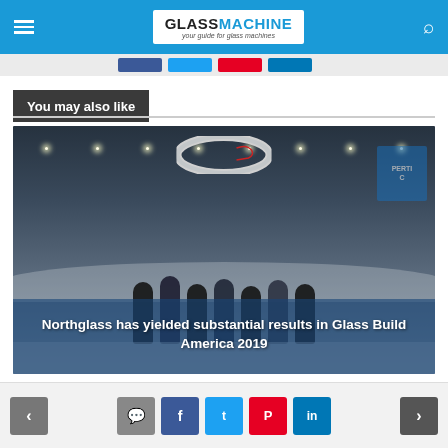GLASSMACHINE your guide for glass machines
You may also like
[Figure (photo): Trade show exhibition hall photo showing group of people posing at a booth with a large circular ring display overhead, overlaid with text 'Northglass has yielded substantial results in Glass Build America 2019']
Northglass has yielded substantial results in Glass Build America 2019
Navigation arrows and social share buttons